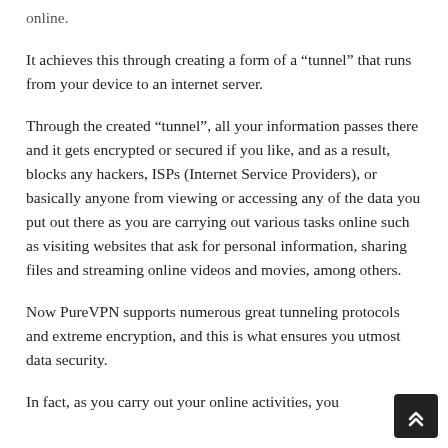online.
It achieves this through creating a form of a “tunnel” that runs from your device to an internet server.
Through the created “tunnel”, all your information passes there and it gets encrypted or secured if you like, and as a result, blocks any hackers, ISPs (Internet Service Providers), or basically anyone from viewing or accessing any of the data you put out there as you are carrying out various tasks online such as visiting websites that ask for personal information, sharing files and streaming online videos and movies, among others.
Now PureVPN supports numerous great tunneling protocols and extreme encryption, and this is what ensures you utmost data security.
In fact, as you carry out your online activities, you